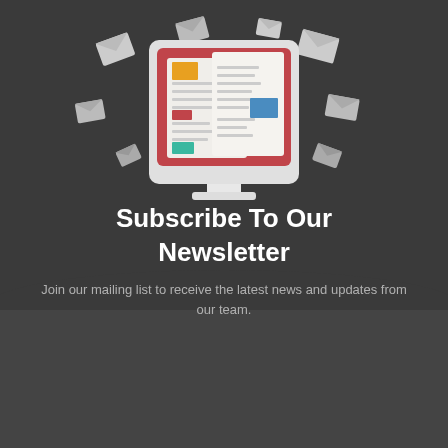[Figure (illustration): Newsletter subscription illustration showing a computer monitor with a red background displaying newspaper/document pages with colorful blocks, surrounded by flying envelope icons on a dark background]
Subscribe To Our Newsletter
Join our mailing list to receive the latest news and updates from our team.
Name
Email